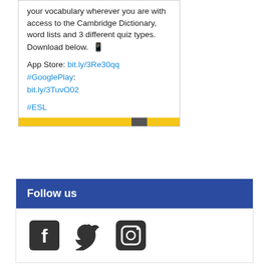your vocabulary wherever you are with access to the Cambridge Dictionary, word lists and 3 different quiz types. Download below. 📱
App Store: bit.ly/3Re30qq #GooglePlay: bit.ly/3TuvO02
#ESL
[Figure (other): Colored image bar at the bottom of the card, showing yellow/gold and dark stripe colors]
Follow us
[Figure (infographic): Social media icons: Facebook, Twitter, Instagram]